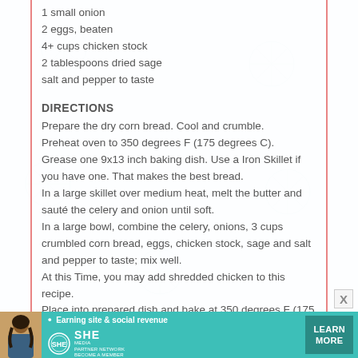1 small onion
2 eggs, beaten
4+ cups chicken stock
2 tablespoons dried sage
salt and pepper to taste
DIRECTIONS
Prepare the dry corn bread. Cool and crumble. Preheat oven to 350 degrees F (175 degrees C). Grease one 9x13 inch baking dish. Use a Iron Skillet if you have one. That makes the best bread. In a large skillet over medium heat, melt the butter and sauté the celery and onion until soft. In a large bowl, combine the celery, onions, 3 cups crumbled corn bread, eggs, chicken stock, sage and salt and pepper to taste; mix well. At this Time, you may add shredded chicken to this recipe. Place into prepared dish and bake at 350 degrees F (175 degrees C) for 30 minutes.
[Figure (infographic): SHE Partner Network advertisement banner with woman photo, bullet point about earning site & social revenue, SHE logo, and LEARN MORE button]